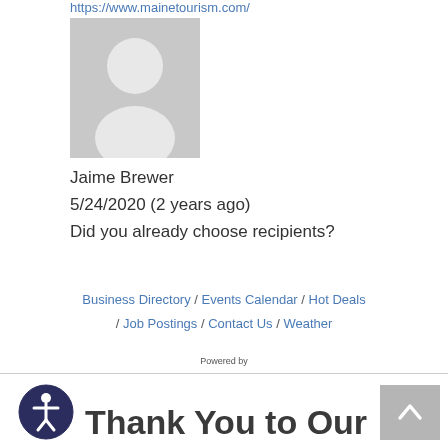https://www.mainetourism.com/
[Figure (photo): Default avatar/profile placeholder image showing a generic person silhouette in gray]
Jaime Brewer
5/24/2020 (2 years ago)
Did you already choose recipients?
Business Directory / Events Calendar / Hot Deals / Job Postings / Contact Us / Weather
[Figure (logo): Powered by GrowthZone logo — 'Growth' in purple bold, 'Zone' in orange bold]
[Figure (logo): Accessibility icon — person in circle with dark navy background]
Thank You to Our